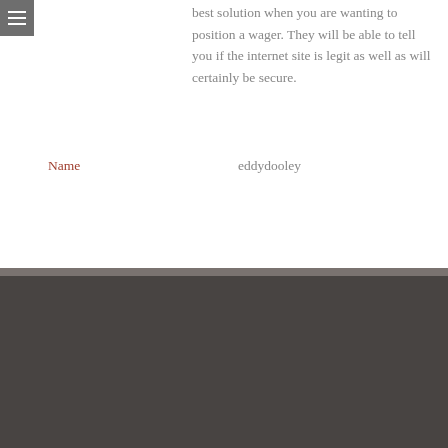best solution when you are wanting to position a wager. They will be able to tell you if the internet site is legit as well as will certainly be secure.
Name	eddydooley
[Figure (other): Footer logo reading 'The RABBIT ROOM' with decorative serif/sans font combination on dark background]
HOME  GROUPS  ABOUT  STORE